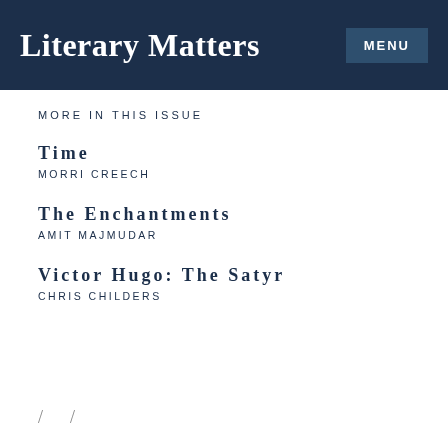Literary Matters
MORE IN THIS ISSUE
Time
MORRI CREECH
The Enchantments
AMIT MAJMUDAR
Victor Hugo: The Satyr
CHRIS CHILDERS
/ /